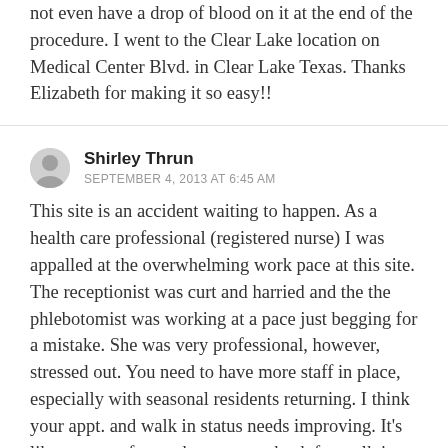not even have a drop of blood on it at the end of the procedure. I went to the Clear Lake location on Medical Center Blvd. in Clear Lake Texas. Thanks Elizabeth for making it so easy!!
Shirley Thrun
SEPTEMBER 4, 2013 AT 6:45 AM
This site is an accident waiting to happen. As a health care professional (registered nurse) I was appalled at the overwhelming work pace at this site. The receptionist was curt and harried and the the phlebotomist was working at a pace just begging for a mistake. She was very professional, however, stressed out. You need to have more staff in place, especially with seasonal residents returning. I think your appt. and walk in status needs improving. It's like one step forward...two steps back for walk ins. One hour and fifty five minutes to wait for a simple